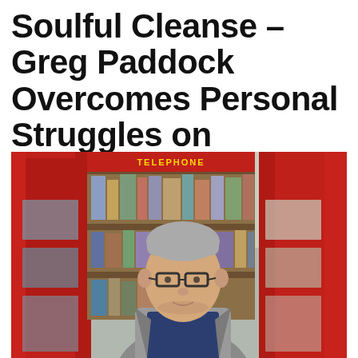Soulful Cleanse – Greg Paddock Overcomes Personal Struggles on 'Cotswold' Debut EP
[Figure (photo): A middle-aged man with short gray hair and glasses, wearing a gray jacket over a navy blue t-shirt, standing in or near a bright red British telephone box. Behind him through the open box is a bookshelf with books. Trees are visible in the background.]